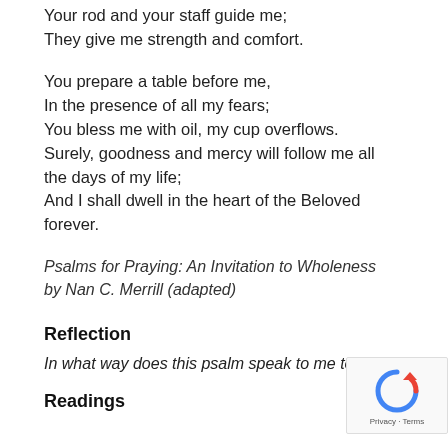Your rod and your staff guide me;
They give me strength and comfort.
You prepare a table before me,
In the presence of all my fears;
You bless me with oil, my cup overflows.
Surely, goodness and mercy will follow me all the days of my life;
And I shall dwell in the heart of the Beloved forever.
Psalms for Praying: An Invitation to Wholeness by Nan C. Merrill (adapted)
Reflection
In what way does this psalm speak to me toda...
Readings